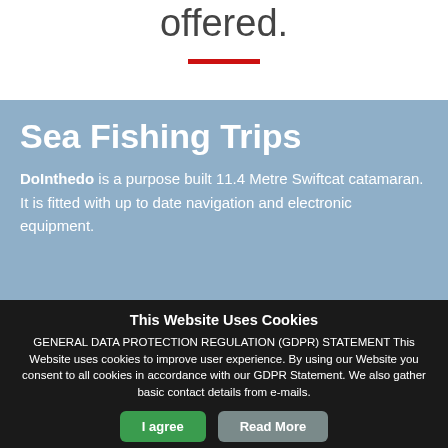offered.
[Figure (other): Red horizontal decorative bar separator]
Sea Fishing Trips
DoInthedo is a purpose built 11.4 Metre Swiftcat catamaran. It is fitted with up to date navigation and electronic equipment.
This Website Uses Cookies
GENERAL DATA PROTECTION REGULATION (GDPR) STATEMENT This Website uses cookies to improve user experience. By using our Website you consent to all cookies in accordance with our GDPR Statement. We also gather basic contact details from e-mails.
I agree | Read More